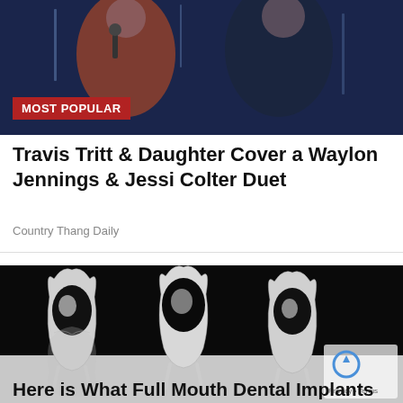[Figure (photo): Two performers on stage, one in an orange outfit, one in a dark outfit, with blue background lighting. A red 'MOST POPULAR' badge overlaid at bottom-left.]
Travis Tritt & Daughter Cover a Waylon Jennings & Jessi Colter Duet
Country Thang Daily
[Figure (photo): Three large crystal/silver teeth with dark cavities against a black background, with reflections below on a gray surface. A reCAPTCHA logo visible at bottom-right.]
Here is What Full Mouth Dental Implants